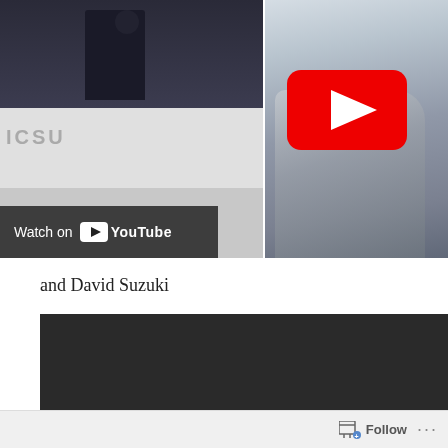[Figure (screenshot): YouTube video thumbnail showing a person at a podium on the left side and an iceberg/glacier image on the right side, with a YouTube play button overlay on the right, and a 'Watch on YouTube' bar at the bottom left of the video]
and David Suzuki
[Figure (screenshot): Dark/black video player thumbnail, second embedded video]
Follow ...